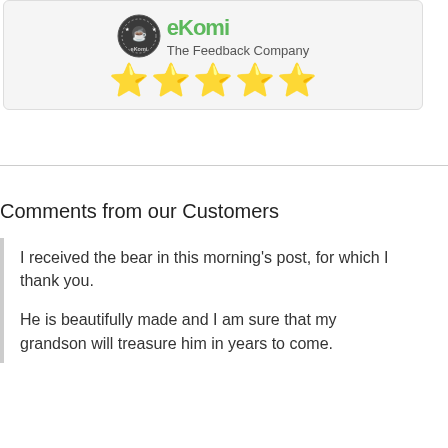[Figure (logo): eKomi - The Feedback Company logo with circular badge and five gold star rating]
Comments from our Customers
I received the bear in this morning's post, for which I thank you.

He is beautifully made and I am sure that my grandson will treasure him in years to come.